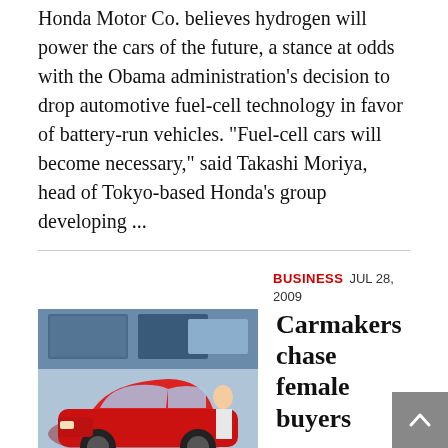Honda Motor Co. believes hydrogen will power the cars of the future, a stance at odds with the Obama administration's decision to drop automotive fuel-cell technology in favor of battery-run vehicles. "Fuel-cell cars will become necessary," said Takashi Moriya, head of Tokyo-based Honda's group developing ...
BUSINESS JUL 28, 2009
Carmakers chase female buyers
[Figure (photo): Photo of a red car (Toyota Prius) at what appears to be an auto show, with a woman in the background and display screens.]
More than 300 young women, sporting curly chestnut brown-dyed hair, heavy makeup and manicured nails crowded into a Toyota showroom, peering at a Prius painted candy-apple red and decorated with rhinestones and heart-shaped pink stickers. "I'm not really interested in cars," said Erika Horiki, 23, ...